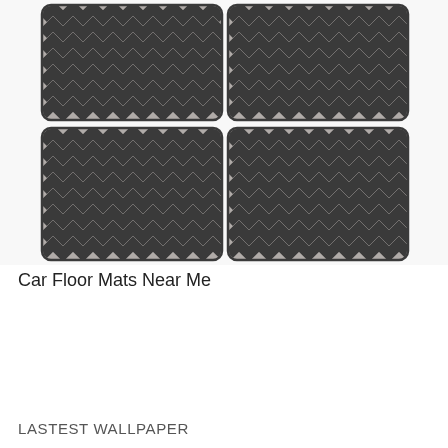[Figure (photo): Four car floor mats arranged in a 2x2 grid, each mat featuring a dark charcoal and grey chevron zigzag pattern with rounded corners]
Car Floor Mats Near Me
LASTEST WALLPAPER